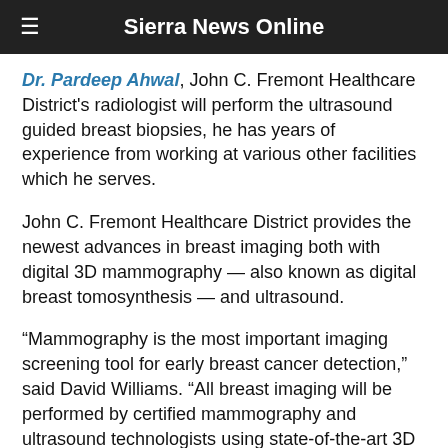Sierra News Online
Dr. Pardeep Ahwal, John C. Fremont Healthcare District's radiologist will perform the ultrasound guided breast biopsies, he has years of experience from working at various other facilities which he serves.
John C. Fremont Healthcare District provides the newest advances in breast imaging both with digital 3D mammography — also known as digital breast tomosynthesis — and ultrasound.
“Mammography is the most important imaging screening tool for early breast cancer detection,” said David Williams. “All breast imaging will be performed by certified mammography and ultrasound technologists using state-of-the-art 3D equipment and will be read by board-certified